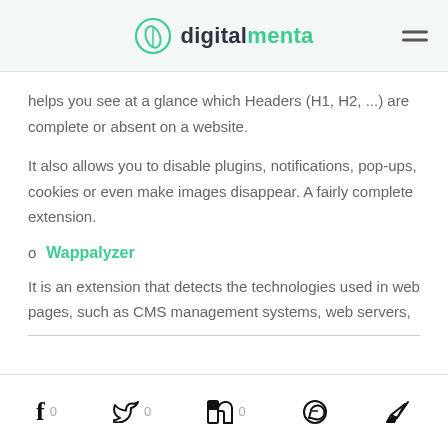digitalmenta
helps you see at a glance which Headers (H1, H2, ...) are complete or absent on a website.
It also allows you to disable plugins, notifications, pop-ups, cookies or even make images disappear. A fairly complete extension.
Wappalyzer
It is an extension that detects the technologies used in web pages, such as CMS management systems, web servers,
f 0  Twitter 0  in 0  WhatsApp  Telegram